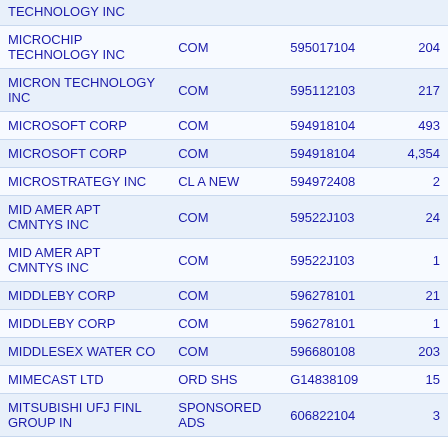| Name | Type | CUSIP | Shares |
| --- | --- | --- | --- |
| TECHNOLOGY INC |  |  |  |
| MICROCHIP TECHNOLOGY INC | COM | 595017104 | 204 |
| MICRON TECHNOLOGY INC | COM | 595112103 | 217 |
| MICROSOFT CORP | COM | 594918104 | 493 |
| MICROSOFT CORP | COM | 594918104 | 4,354 |
| MICROSTRATEGY INC | CL A NEW | 594972408 | 2 |
| MID AMER APT CMNTYS INC | COM | 59522J103 | 24 |
| MID AMER APT CMNTYS INC | COM | 59522J103 | 1 |
| MIDDLEBY CORP | COM | 596278101 | 21 |
| MIDDLEBY CORP | COM | 596278101 | 1 |
| MIDDLESEX WATER CO | COM | 596680108 | 203 |
| MIMECAST LTD | ORD SHS | G14838109 | 15 |
| MITSUBISHI UFJ FINL GROUP IN | SPONSORED ADS | 606822104 | 3 |